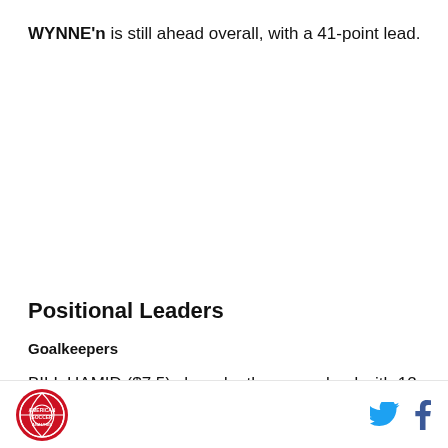WYNNE'n is still ahead overall, with a 41-point lead.
Positional Leaders
Goalkeepers
BILL HAMID ($7.5) shared a three-way lead with 12
Logo and social media icons